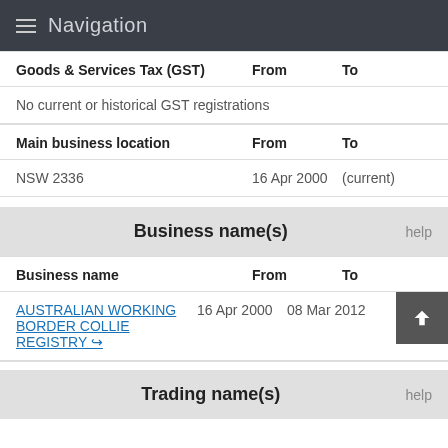Navigation
| Goods & Services Tax (GST) | From | To |
| --- | --- | --- |
| No current or historical GST registrations |  |  |
| Main business location | From | To |
| --- | --- | --- |
| NSW 2336 | 16 Apr 2000 | (current) |
Business name(s)
| Business name | From | To |
| --- | --- | --- |
| AUSTRALIAN WORKING BORDER COLLIE REGISTRY | 16 Apr 2000 | 08 Mar 2012 |
Trading name(s)